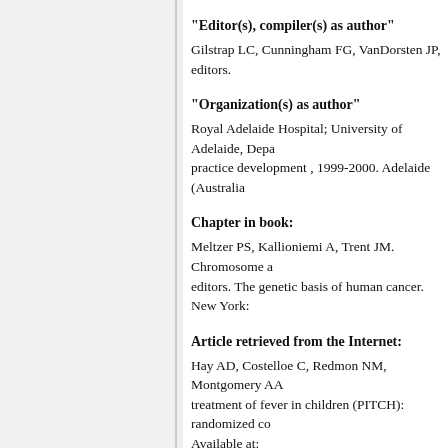"Editor(s), compiler(s) as author"
Gilstrap LC, Cunningham FG, VanDorsten JP, editors.
"Organization(s) as author"
Royal Adelaide Hospital; University of Adelaide, Department of Clinical Nursing. Rethinking subcutaneous water administration: findings of a national survey and practice development , 1999-2000. Adelaide (Australia):
Chapter in book:
Meltzer PS, Kallioniemi A, Trent JM. Chromosome aberrations in human solid tumors. In: Vogelstein B, Kinzler KW, editors. The genetic basis of human cancer.  New York:
Article retrieved from the Internet:
Hay AD, Costelloe C, Redmon NM, Montgomery AA, treatment of fever in children (PITCH): randomized controlled trial. Available at: www.bmj.com/cgi/content/full/337/sep02
Article/Abstract in conference proceedings
Talaei Zavareh SA, Sheibani V, Salami M. Interaction of rat's hippocampus. 18th Congress of Physiology and
Thesis & Dissertation
Eftekhari Yazdi P, Comparison of Fragment Removal